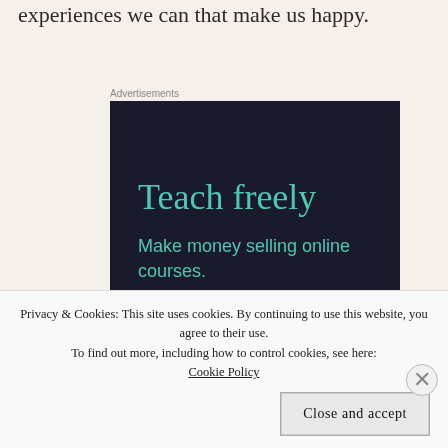experiences we can that make us happy.
[Figure (screenshot): Advertisement banner with dark navy background. Large teal text reads 'Teach freely' with smaller teal text below reading 'Make money selling online courses.']
Privacy & Cookies: This site uses cookies. By continuing to use this website, you agree to their use. To find out more, including how to control cookies, see here: Cookie Policy
Close and accept